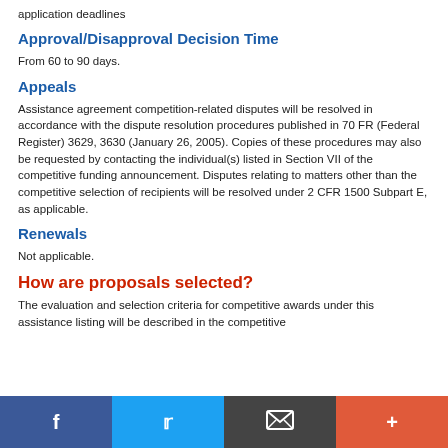application deadlines
Approval/Disapproval Decision Time
From 60 to 90 days.
Appeals
Assistance agreement competition-related disputes will be resolved in accordance with the dispute resolution procedures published in 70 FR (Federal Register) 3629, 3630 (January 26, 2005). Copies of these procedures may also be requested by contacting the individual(s) listed in Section VII of the competitive funding announcement. Disputes relating to matters other than the competitive selection of recipients will be resolved under 2 CFR 1500 Subpart E, as applicable.
Renewals
Not applicable.
How are proposals selected?
The evaluation and selection criteria for competitive awards under this assistance listing will be described in the competitive